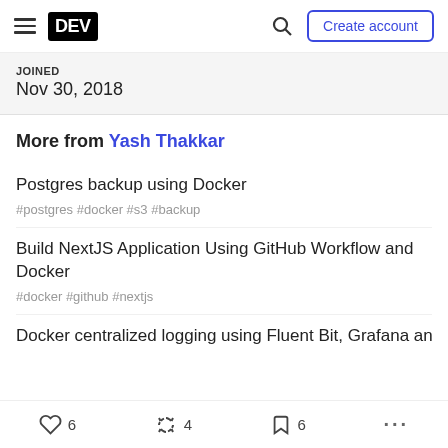DEV | Create account
JOINED
Nov 30, 2018
More from Yash Thakkar
Postgres backup using Docker
#postgres #docker #s3 #backup
Build NextJS Application Using GitHub Workflow and Docker
#docker #github #nextjs
Docker centralized logging using Fluent Bit, Grafana and
6  4  6  ...